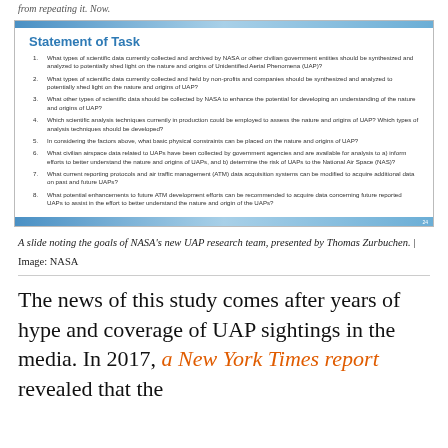from repeating it. Now.
[Figure (screenshot): A NASA presentation slide titled 'Statement of Task' listing 8 numbered questions about UAP research goals, with a blue gradient header and footer bar.]
A slide noting the goals of NASA's new UAP research team, presented by Thomas Zurbuchen.  | Image: NASA
The news of this study comes after years of hype and coverage of UAP sightings in the media. In 2017, a New York Times report revealed that the